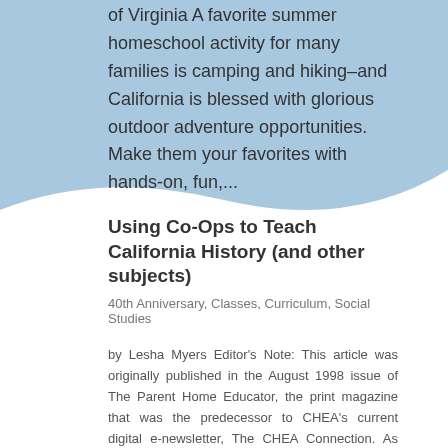of Virginia A favorite summer homeschool activity for many families is camping and hiking–and California is blessed with glorious outdoor adventure opportunities. Make them your favorites with hands-on, fun,...
Using Co-Ops to Teach California History (and other subjects)
40th Anniversary, Classes, Curriculum, Social Studies
by Lesha Myers Editor's Note: This article was originally published in the August 1998 issue of The Parent Home Educator, the print magazine that was the predecessor to CHEA's current digital e-newsletter, The CHEA Connection. As part of CHEA's 40th Anniversary...
Confessions of a First-Year Homeschooler
Curriculum, Decisions, Encouragement
by Rebecca Kossic I changed curriculum three times